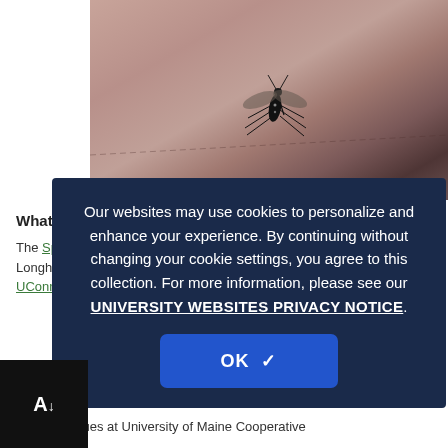[Figure (photo): Close-up photo of a spotted mosquito or similar insect on what appears to be fabric or skin surface, with stitching visible]
What is it?
The Spotted ... (partially obscured by modal) come with adults app... Longhorn... during August, says Caro... from our UConn Home & Garden Education Center.
Ask us your question... https://bit.ly/AskUC....com
Our colleagues at University of Maine Cooperative
Our websites may use cookies to personalize and enhance your experience. By continuing without changing your cookie settings, you agree to this collection. For more information, please see our UNIVERSITY WEBSITES PRIVACY NOTICE.
OK